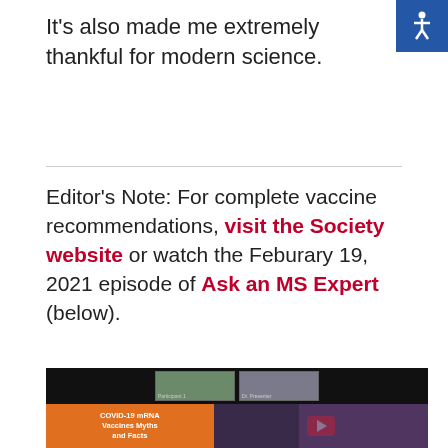It's also made me extremely thankful for modern science.
Editor's Note: For complete vaccine recommendations, visit the Society website or watch the Feburary 19, 2021 episode of Ask an MS Expert (below).
[Figure (screenshot): Screenshot of a video player showing COVID-19 mRNA Vaccines Myths and Facts presentation with YouTube play button overlay. Left side has orange background with white text 'COVID-19 mRNA Vaccines Myths and Facts'. Right side shows three women standing together. Small video conference thumbnails visible at top.]